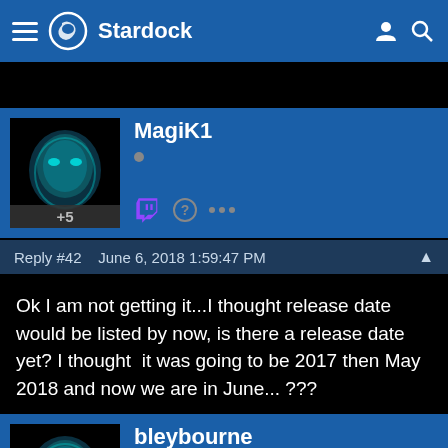Stardock
MagiK1
Reply #42   June 6, 2018 1:59:47 PM
Ok I am not getting it...I thought release date would be listed by now, is there a release date yet? I thought  it was going to be 2017 then May 2018 and now we are in June... ???
bleybourne